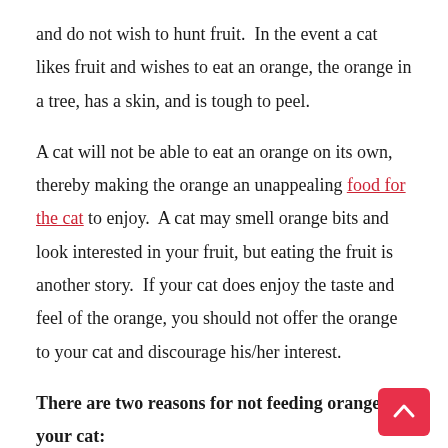and do not wish to hunt fruit.  In the event a cat likes fruit and wishes to eat an orange, the orange in a tree, has a skin, and is tough to peel.

A cat will not be able to eat an orange on its own, thereby making the orange an unappealing food for the cat to enjoy.  A cat may smell orange bits and look interested in your fruit, but eating the fruit is another story.  If your cat does enjoy the taste and feel of the orange, you should not offer the orange to your cat and discourage his/her interest.

There are two reasons for not feeding oranges to your cat: